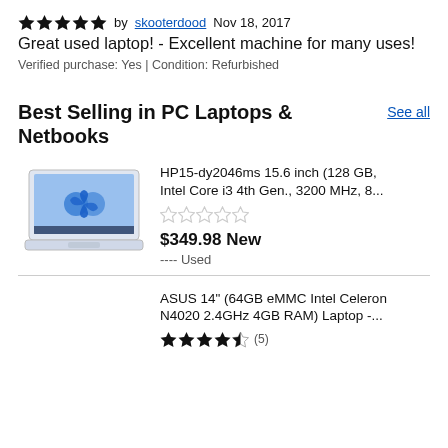★★★★★ by skooterdood Nov 18, 2017
Great used laptop! - Excellent machine for many uses!
Verified purchase: Yes | Condition: Refurbished
Best Selling in PC Laptops & Netbooks
See all
[Figure (photo): HP laptop open, showing Windows 11 screen with blue flower/Windows logo]
HP15-dy2046ms 15.6 inch (128 GB, Intel Core i3 4th Gen., 3200 MHz, 8...
★★★★★ (empty stars)
$349.98 New
---- Used
ASUS 14" (64GB eMMC Intel Celeron N4020 2.4GHz 4GB RAM) Laptop -...
★★★★☆ (5)